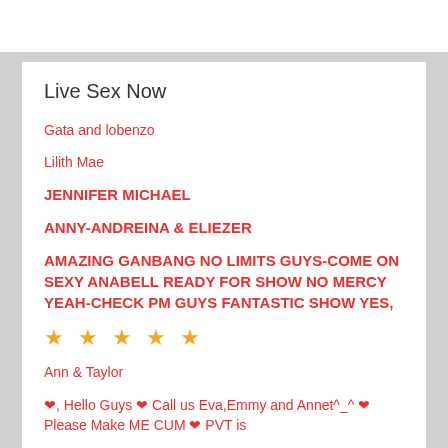Live Sex Now
Gata and lobenzo
Lilith Mae
JENNIFER MICHAEL
ANNY-ANDREINA & ELIEZER
AMAZING GANBANG NO LIMITS GUYS-COME ON SEXY ANABELL READY FOR SHOW NO MERCY YEAH-CHECK PM GUYS FANTASTIC SHOW YES,
★ ★ ★ ★ ★
Ann & Taylor
❤,  Hello Guys ❤ Call us Eva,Emmy and Annet^_^ ❤ Please Make ME CUM  ❤ PVT is